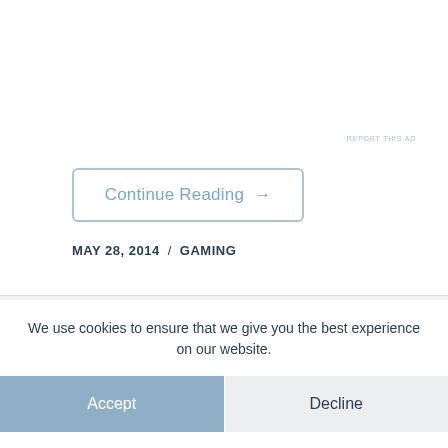REPORT THIS AD
Continue Reading →
MAY 28, 2014 / GAMING
We use cookies to ensure that we give you the best experience on our website.
Accept
Decline